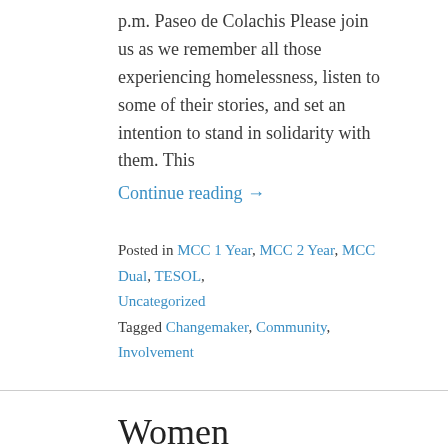p.m. Paseo de Colachis Please join us as we remember all those experiencing homelessness, listen to some of their stories, and set an intention to stand in solidarity with them. This
Continue reading →
Posted in MCC 1 Year, MCC 2 Year, MCC Dual, TESOL, Uncategorized
Tagged Changemaker, Community, Involvement
Women PeaceMakers Event 2019 – 11/5
October 22, 2019
Tuesday, November 5th at 6:00 pm Kroc School,